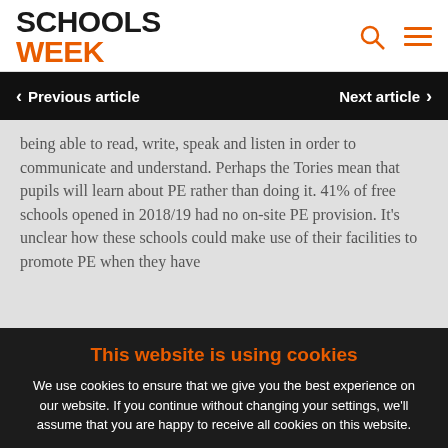SCHOOLS WEEK
Previous article
Next article
being able to read, write, speak and listen in order to communicate and understand. Perhaps the Tories mean that pupils will learn about PE rather than doing it. 41% of free schools opened in 2018/19 had no on-site PE provision. It's unclear how these schools could make use of their facilities to promote PE when they have none.
This website is using cookies
We use cookies to ensure that we give you the best experience on our website. If you continue without changing your settings, we'll assume that you are happy to receive all cookies on this website.
Accept / Learn More
NPQ 2022 APPLICATIONS NOW OPEN FUNDED APPLY NOW